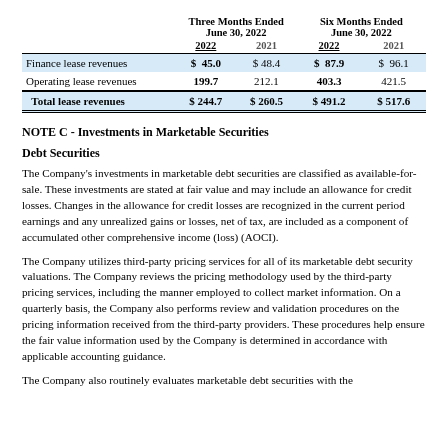|  | Three Months Ended June 30, 2022 2022 | Three Months Ended June 30, 2022 2021 | Six Months Ended June 30, 2022 2022 | Six Months Ended June 30, 2022 2021 |
| --- | --- | --- | --- | --- |
| Finance lease revenues | $ 45.0 | $ 48.4 | $ 87.9 | $ 96.1 |
| Operating lease revenues | 199.7 | 212.1 | 403.3 | 421.5 |
| Total lease revenues | $ 244.7 | $ 260.5 | $ 491.2 | $ 517.6 |
NOTE C - Investments in Marketable Securities
Debt Securities
The Company's investments in marketable debt securities are classified as available-for-sale. These investments are stated at fair value and may include an allowance for credit losses. Changes in the allowance for credit losses are recognized in the current period earnings and any unrealized gains or losses, net of tax, are included as a component of accumulated other comprehensive income (loss) (AOCI).
The Company utilizes third-party pricing services for all of its marketable debt security valuations. The Company reviews the pricing methodology used by the third-party pricing services, including the manner employed to collect market information. On a quarterly basis, the Company also performs review and validation procedures on the pricing information received from the third-party providers. These procedures help ensure the fair value information used by the Company is determined in accordance with applicable accounting guidance.
The Company also routinely evaluates marketable debt securities with...